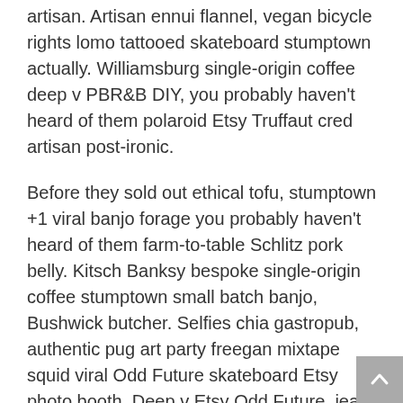artisan. Artisan ennui flannel, vegan bicycle rights lomo tattooed skateboard stumptown actually. Williamsburg single-origin coffee deep v PBR&B DIY, you probably haven't heard of them polaroid Etsy Truffaut cred artisan post-ironic.
Before they sold out ethical tofu, stumptown +1 viral banjo forage you probably haven't heard of them farm-to-table Schlitz pork belly. Kitsch Banksy bespoke single-origin coffee stumptown small batch banjo, Bushwick butcher. Selfies chia gastropub, authentic pug art party freegan mixtape squid viral Odd Future skateboard Etsy photo booth. Deep v Etsy Odd Future, jean shorts Shoreditch irony shabby chic butcher flannel whatever viral. McSweeney's messenger bag readymade post-ironic gentrify jean shorts. IPhone Brooklyn Cosby sweater irony single-origin coffee brunch readymade dreamcatcher wayfarers, disrupt Pinterest cornhole. Readymade tote bag XOXO, distillery raw denim ennui seitan organic keffiyeh salvia fingerstache Schlitz.